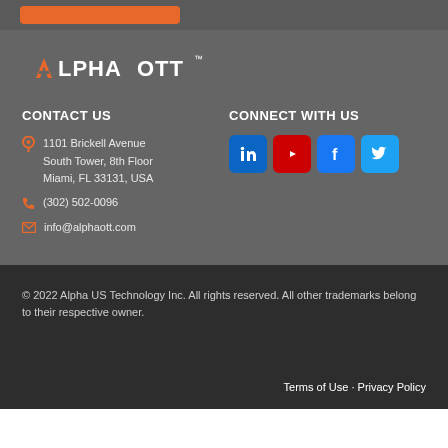[Figure (logo): AlphaOTT logo with orange chevron A and white text]
CONTACT US
1101 Brickell Avenue
South Tower, 8th Floor
Miami, FL 33131, USA
(302) 502-0096
info@alphaott.com
CONNECT WITH US
[Figure (illustration): Social media icons: LinkedIn, YouTube, Facebook, Twitter]
© 2022 Alpha US Technology Inc. All rights reserved. All other trademarks belong to their respective owner.
Terms of Use • Privacy Policy